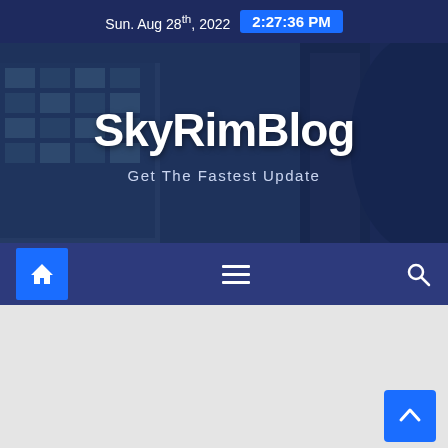Sun. Aug 28th, 2022  2:27:36 PM
[Figure (screenshot): SkyRimBlog website banner with city building background, showing blog title and tagline]
SkyRimBlog
Get The Fastest Update
[Figure (infographic): Navigation bar with home button (blue), hamburger menu icon, and search icon on dark blue background]
[Figure (other): Back to top button (blue, arrow up) in lower right corner]